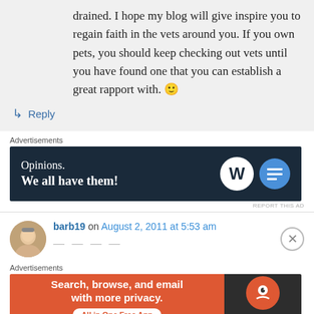drained. I hope my blog will give inspire you to regain faith in the vets around you. If you own pets, you should keep checking out vets until you have found one that you can establish a great rapport with. 🙂
↳ Reply
Advertisements
[Figure (screenshot): Advertisement banner: dark navy background with text 'Opinions. We all have them!' and WordPress and another logo on the right]
REPORT THIS AD
barb19 on August 2, 2011 at 5:53 am
Advertisements
[Figure (screenshot): Advertisement banner: DuckDuckGo ad with orange left section 'Search, browse, and email with more privacy. All in One Free App' and dark right section with DuckDuckGo logo]